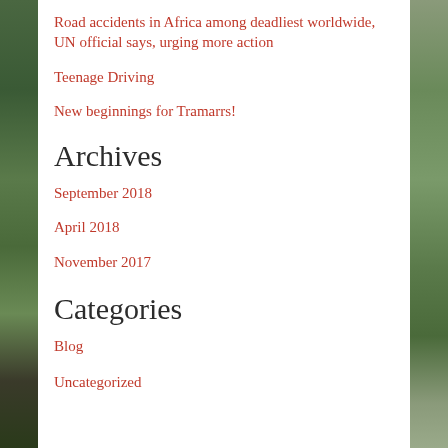Road accidents in Africa among deadliest worldwide, UN official says, urging more action
Teenage Driving
New beginnings for Tramarrs!
Archives
September 2018
April 2018
November 2017
Categories
Blog
Uncategorized